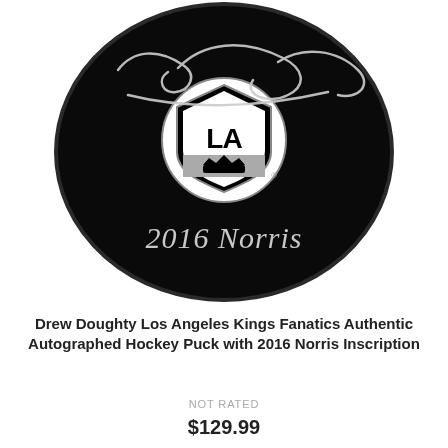[Figure (photo): A black NHL hockey puck with the LA Kings logo in the center (white circle with black shield containing the letters LA and a crown). The puck has a silver autograph (Drew Doughty's signature) across the top and the inscription '2016 Norris' written in silver script at the bottom.]
Drew Doughty Los Angeles Kings Fanatics Authentic Autographed Hockey Puck with 2016 Norris Inscription
NOT RATED
$129.99